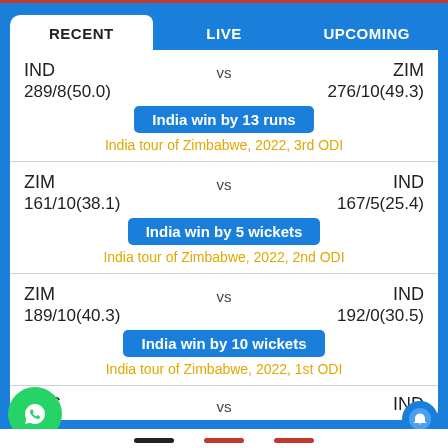RECENT | LIVE | UPCOMING
IND vs ZIM
289/8(50.0)  276/10(49.3)
India win by 13 runs
India tour of Zimbabwe, 2022, 3rd ODI
ZIM vs IND
161/10(38.1)  167/5(25.4)
India win by 5 wickets
India tour of Zimbabwe, 2022, 2nd ODI
ZIM vs IND
189/10(40.3)  192/0(30.5)
India win by 10 wickets
India tour of Zimbabwe, 2022, 1st ODI
AUS vs IND